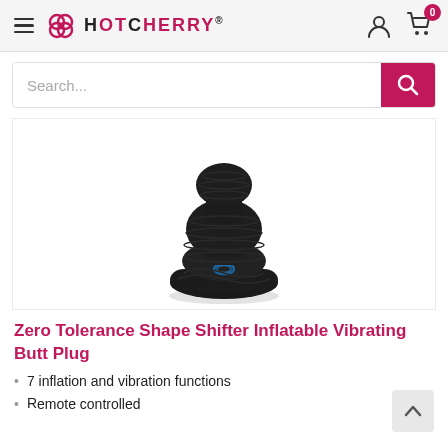HotCherry® — navigation header with hamburger menu, logo, user icon, and cart (0)
Search...
[Figure (photo): Black inflatable vibrating butt plug product photo on white background, showing textured silicone body with ribbed hourglass shape and blue LED ring at base]
Zero Tolerance Shape Shifter Inflatable Vibrating Butt Plug
7 inflation and vibration functions
Remote controlled